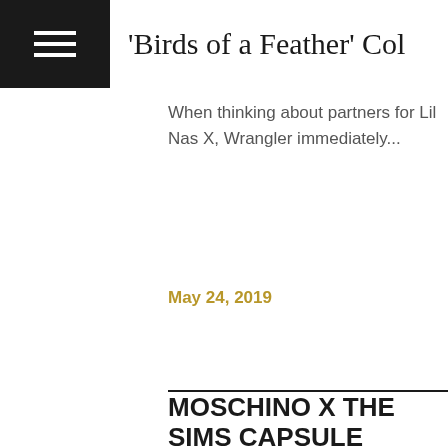'Birds of a Feather' Col
When thinking about partners for Lil Nas X, Wrangler immediately...
May 24, 2019
MOSCHINO X THE SIMS CAPSULE COLLECTION